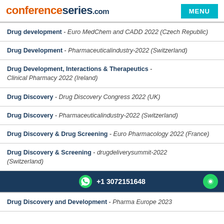conferenceseries.com | MENU
Drug development - Euro MedChem and CADD 2022 (Czech Republic)
Drug Development - Pharmaceuticalindustry-2022 (Switzerland)
Drug Development, Interactions & Therapeutics - Clinical Pharmacy 2022 (Ireland)
Drug Discovery - Drug Discovery Congress 2022 (UK)
Drug Discovery - Pharmaceuticalindustry-2022 (Switzerland)
Drug Discovery & Drug Screening - Euro Pharmacology 2022 (France)
Drug Discovery & Screening - drugdeliverysummit-2022 (Switzerland)
+1 3072151648
Drug Discovery and Development - Pharma Europe 2023